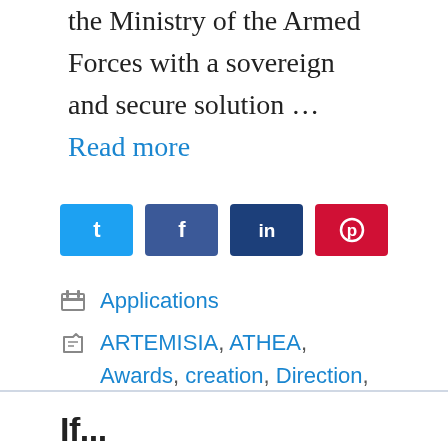the Ministry of the Armed Forces with a sovereign and secure solution … Read more
[Figure (other): Social media share buttons: Twitter (blue), Facebook (dark blue), LinkedIn (navy), Pinterest (red)]
Applications
ARTEMISIA, ATHEA, Awards, creation, Direction, Generale, lArmement, Platform
If...